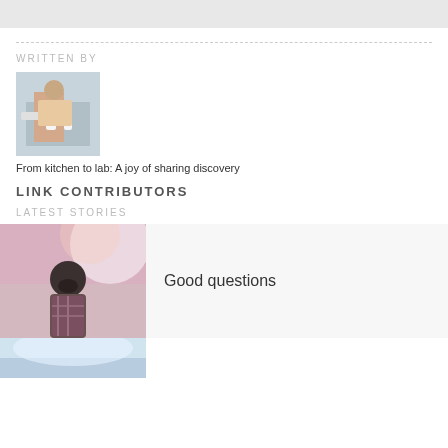[Figure (photo): Top gray bar placeholder]
WRITTEN BY
[Figure (photo): Author photo: person working in a laboratory setting]
From kitchen to lab: A joy of sharing discovery
LINK CONTRIBUTORS
LATEST STORIES
[Figure (photo): Story thumbnail: man with beard looking up with dramatic sky background]
Good questions
[Figure (photo): Story thumbnail: sky/clouds scene (partially visible at bottom)]